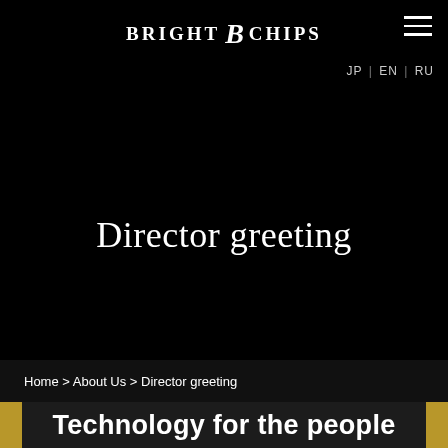BRIGHT B CHIPS
Director greeting
Home > About Us > Director greeting
Technology for the people